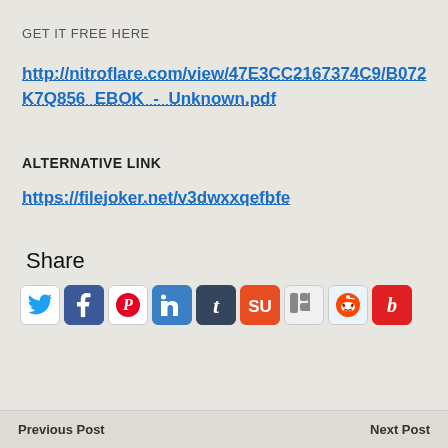GET IT FREE HERE
http://nitroflare.com/view/47E3CC2167374C9/B072K7Q856_EBOK_-_Unknown.pdf
ALTERNATIVE LINK
https://filejoker.net/v3dwxxqefbfe
Share
[Figure (infographic): Row of 9 social media share icons: Twitter, Facebook, Pinterest, LinkedIn, Tumblr, StumbleUpon, Digg, Reddit, Blogo]
Previous Post    Next Post